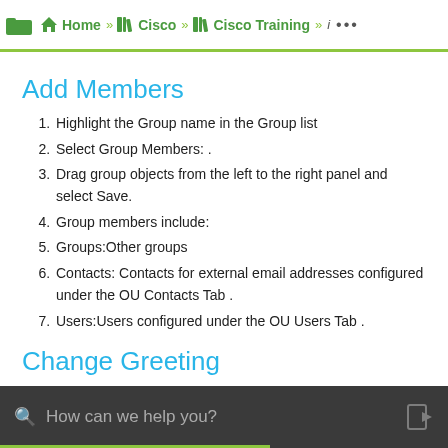Home » Cisco » Cisco Training » i ...
Add Members
Highlight the Group name in the Group list
Select Group Members: .
Drag group objects from the left to the right panel and select Save.
Group members include:
Groups:Other groups
Contacts: Contacts for external email addresses configured under the OU Contacts Tab .
Users:Users configured under the OU Users Tab .
Change Greeting
Call the Primary Voicemail Pilot number
How can we help you?